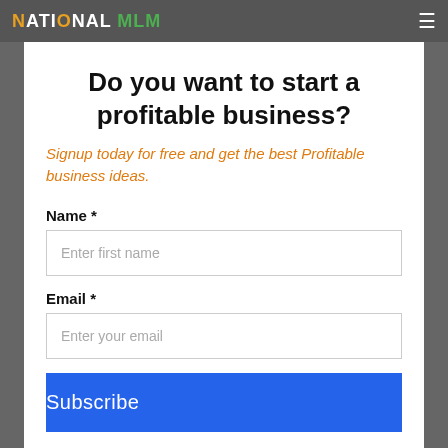NATIONAL MLM
Do you want to start a profitable business?
Signup today for free and get the best Profitable business ideas.
Name *
Enter first name
Email *
Enter your email
Subscribe